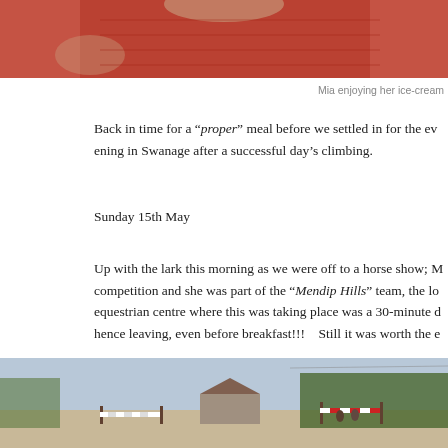[Figure (photo): Top portion of a photo showing a person in a red lace/crochet top, cropped at chin level]
Mia enjoying her ice-cream
Back in time for a “proper” meal before we settled in for the evening in Swanage after a successful day’s climbing.
Sunday 15th May
Up with the lark this morning as we were off to a horse show; M competition and she was part of the “Mendip Hills” team, the lo equestrian centre where this was taking place was a 30-minute d hence leaving, even before breakfast!!!    Still it was worth the e
[Figure (photo): Outdoor equestrian arena with jump poles, small stable building in background, trees and fields visible]